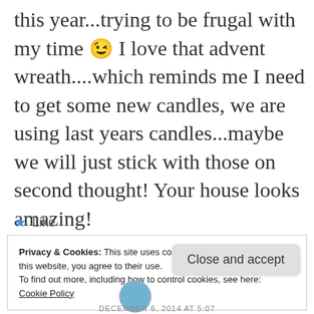this year...trying to be frugal with my time 😉 I love that advent wreath....which reminds me I need to get some new candles, we are using last years candles...maybe we will just stick with those on second thought! Your house looks amazing!
★ Like
Privacy & Cookies: This site uses cookies. By continuing to use this website, you agree to their use.
To find out more, including how to control cookies, see here:
Cookie Policy
Close and accept
DECEMBER 6, 2014 AT 5:07